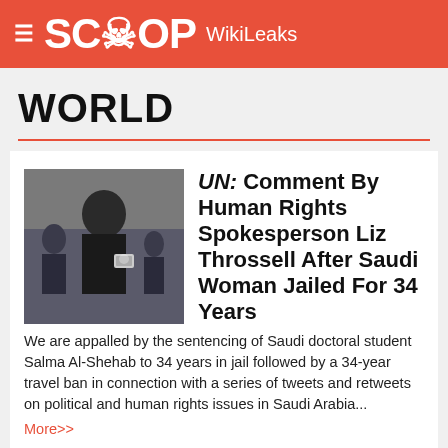SCOOP WikiLeaks
WORLD
UN: Comment By Human Rights Spokesperson Liz Throssell After Saudi Woman Jailed For 34 Years
We are appalled by the sentencing of Saudi doctoral student Salma Al-Shehab to 34 years in jail followed by a 34-year travel ban in connection with a series of tweets and retweets on political and human rights issues in Saudi Arabia...
More>>
UN Agriculture: Helps Protect Against Threat Of Locust